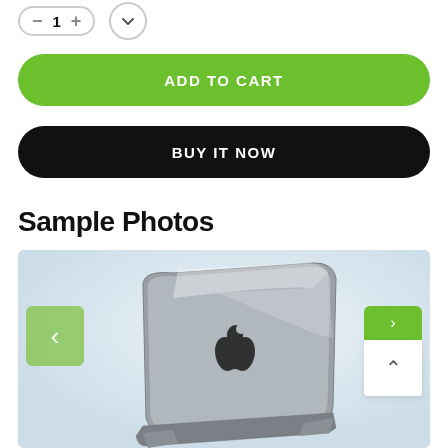[Figure (screenshot): Quantity selector control with minus and plus buttons in rounded pill shape, and a chevron/dropdown button]
[Figure (screenshot): Green rounded ADD TO CART button]
[Figure (screenshot): Black rounded BUY IT NOW button]
Sample Photos
[Figure (photo): MacBook laptop shown from behind at an angle on a light blue-grey background, with Apple logo visible, flanked by left and right navigation arrows]